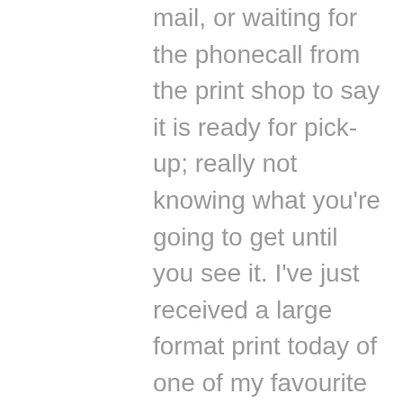mail, or waiting for the phonecall from the print shop to say it is ready for pick-up; really not knowing what you're going to get until you see it. I've just received a large format print today of one of my favourite pieces to date and I'm soooo disappointed. It is washed out, it is flat – just awful. The paper is all wrong and the format is too big. Back to square one – this piece will end up in a gallery – but I just have to find the right paper and the right format for it, and a printer who understands the importance of archival